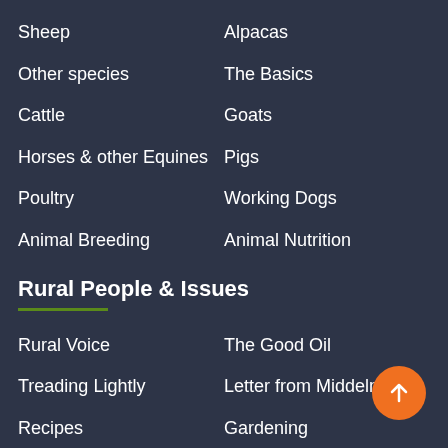Sheep
Alpacas
Other species
The Basics
Cattle
Goats
Horses & other Equines
Pigs
Poultry
Working Dogs
Animal Breeding
Animal Nutrition
Rural People & Issues
Rural Voice
The Good Oil
Treading Lightly
Letter from Middelmost
Recipes
Gardening
Cheese making
Property